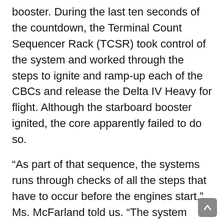booster. During the last ten seconds of the countdown, the Terminal Count Sequencer Rack (TCSR) took control of the system and worked through the steps to ignite and ramp-up each of the CBCs and release the Delta IV Heavy for flight. Although the starboard booster ignited, the core apparently failed to do so.
“As part of that sequence, the systems runs through checks of all the steps that have to occur before the engines start,” Ms. McFarland told us. “The system aborted at T-3 seconds because the start conditions were not met to proceed with core engine start-up. The starboard engine had started, but the system worked as intended and cut off as expected.”